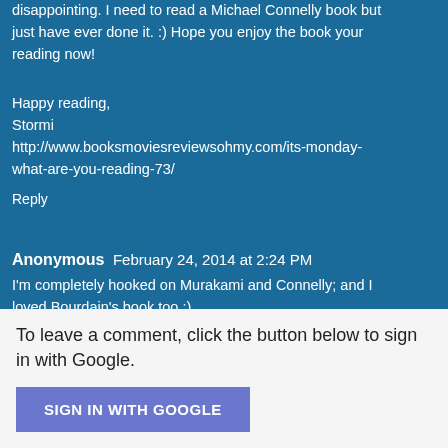disappointing. I need to read a Michael Connelly book but just have ever done it. :) Hope you enjoy the book your reading now!
Happy reading,
Stormi
http://www.booksmoviesreviewsohmy.com/its-monday-what-are-you-reading-73/
Reply
Anonymous  February 24, 2014 at 2:24 PM
I'm completely hooked on Murakami and Connelly; and I loved Bourdain's book too :)
Reply
To leave a comment, click the button below to sign in with Google.
SIGN IN WITH GOOGLE